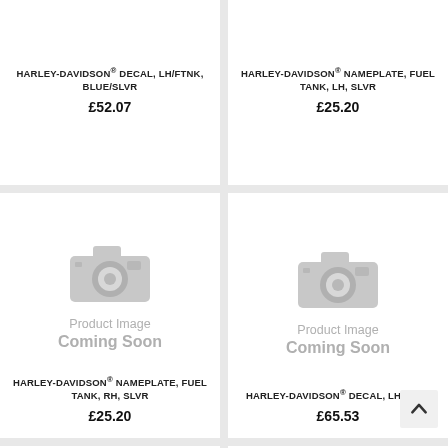HARLEY-DAVIDSON® DECAL, LH/FTNK, BLUE/SLVR
£52.07
HARLEY-DAVIDSON® NAMEPLATE, FUEL TANK, LH, SLVR
£25.20
[Figure (illustration): Product Image Coming Soon placeholder with camera icon]
HARLEY-DAVIDSON® NAMEPLATE, FUEL TANK, RH, SLVR
£25.20
[Figure (illustration): Product Image Coming Soon placeholder with camera icon]
HARLEY-DAVIDSON® DECAL, LH/FTNK
£65.53
[Figure (illustration): Partial product image coming soon placeholder - bottom row left]
[Figure (illustration): Partial product image coming soon placeholder - bottom row right]